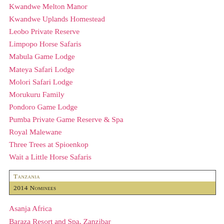Kwandwe Melton Manor
Kwandwe Uplands Homestead
Leobo Private Reserve
Limpopo Horse Safaris
Mabula Game Lodge
Mateya Safari Lodge
Molori Safari Lodge
Morukuru Family
Pondoro Game Lodge
Pumba Private Game Reserve & Spa
Royal Malewane
Three Trees at Spioenkop
Wait a Little Horse Safaris
Tanzania
2014 Nominees
Asanja Africa
Baraza Resort and Spa, Zanzibar
Beho Beho
Boutique Hotel Matlai, Zanzibar
Breezes Beach Club and Spa